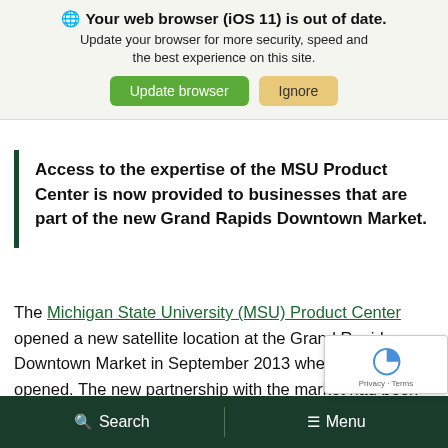Your web browser (iOS 11) is out of date. Update your browser for more security, speed and the best experience on this site.
Update browser | Ignore
Access to the expertise of the MSU Product Center is now provided to businesses that are part of the new Grand Rapids Downtown Market.
The Michigan State University (MSU) Product Center opened a new satellite location at the Grand Rapids Downtown Market in September 2013 when the market opened. The new partnership with the market had been exciting to say the least, and has allowed us to share our
Search | Menu